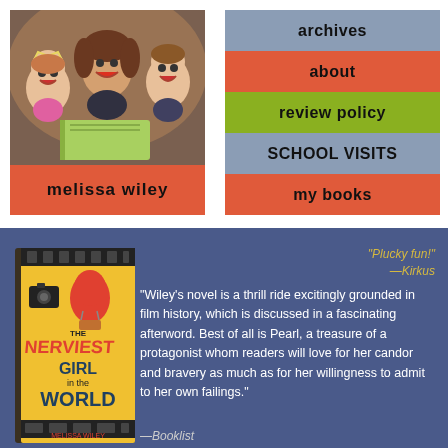[Figure (photo): Photo of a woman with two children laughing and reading a book together]
melissa wiley
archives
about
review policy
school visits
my books
[Figure (photo): Book cover: The Nerviest Girl in the World by Melissa Wiley]
"Plucky fun!" —Kirkus
"Wiley's novel is a thrill ride excitingly grounded in film history, which is discussed in a fascinating afterword. Best of all is Pearl, a treasure of a protagonist whom readers will love for her candor and bravery as much as for her willingness to admit to her own failings."
—Booklist